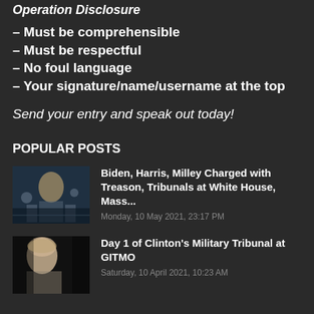Operation Disclosure
– Must be comprehensible
– Must be respectful
– No foul language
– Your signature/name/username at the top
Send your entry and speak out today!
POPULAR POSTS
[Figure (photo): Dark sci-fi themed image with figures]
Biden, Harris, Milley Charged with Treason, Tribunals at White House, Mass...
Monday, 10 May 2021, 23:17 PM
[Figure (photo): Side profile photo of a woman with blonde hair against dark background]
Day 1 of Clinton's Military Tribunal at GITMO
Saturday, 10 April 2021, 10:23 AM